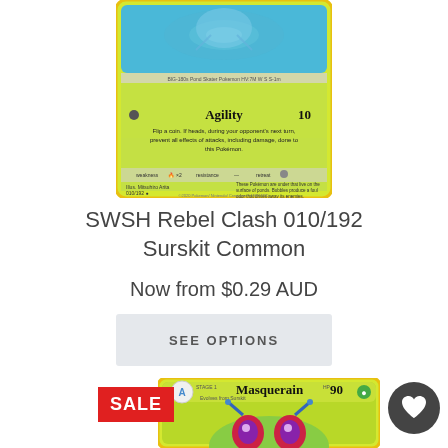[Figure (photo): Partial view of a Pokemon trading card (Surskit) showing the bottom half with green background, Agility attack for 10 damage, and card footer details]
SWSH Rebel Clash 010/192
Surskit Common
Now from $0.29 AUD
SEE OPTIONS
[Figure (photo): Partial view of a Pokemon trading card (Masquerain) showing top portion with yellow-green border, card name, HP 90, and pokemon art peeking from bottom]